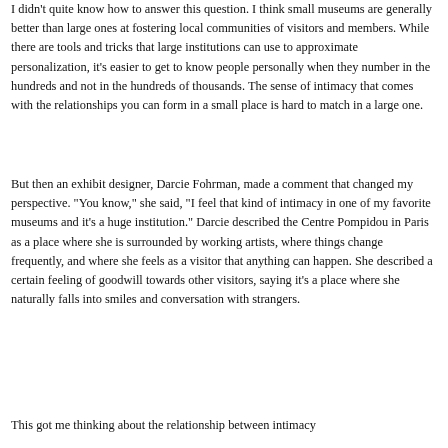I didn't quite know how to answer this question. I think small museums are generally better than large ones at fostering local communities of visitors and members. While there are tools and tricks that large institutions can use to approximate personalization, it's easier to get to know people personally when they number in the hundreds and not in the hundreds of thousands. The sense of intimacy that comes with the relationships you can form in a small place is hard to match in a large one.
But then an exhibit designer, Darcie Fohrman, made a comment that changed my perspective. "You know," she said, "I feel that kind of intimacy in one of my favorite museums and it's a huge institution." Darcie described the Centre Pompidou in Paris as a place where she is surrounded by working artists, where things change frequently, and where she feels as a visitor that anything can happen. She described a certain feeling of goodwill towards other visitors, saying it's a place where she naturally falls into smiles and conversation with strangers.
This got me thinking about the relationship between intimacy